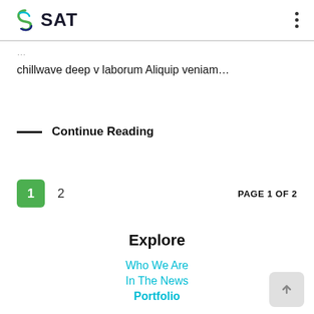SAT
chillwave deep v laborum Aliquip veniam…
Continue Reading
1  2  PAGE 1 OF 2
Explore
Who We Are
In The News
Portfolio